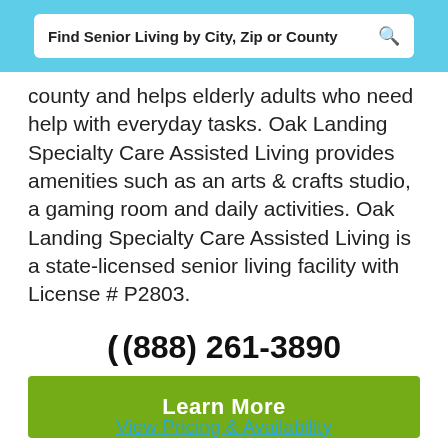Find Senior Living by City, Zip or County
county and helps elderly adults who need help with everyday tasks. Oak Landing Specialty Care Assisted Living provides amenities such as an arts & crafts studio, a gaming room and daily activities. Oak Landing Specialty Care Assisted Living is a state-licensed senior living facility with License # P2803.
(888) 261-3890
Learn More
View Pricing & Availability